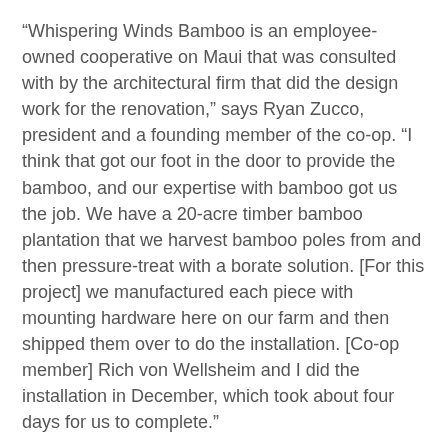“Whispering Winds Bamboo is an employee-owned cooperative on Maui that was consulted with by the architectural firm that did the design work for the renovation,” says Ryan Zucco, president and a founding member of the co-op. “I think that got our foot in the door to provide the bamboo, and our expertise with bamboo got us the job. We have a 20-acre timber bamboo plantation that we harvest bamboo poles from and then pressure-treat with a borate solution. [For this project] we manufactured each piece with mounting hardware here on our farm and then shipped them over to do the installation. [Co-op member] Rich von Wellsheim and I did the installation in December, which took about four days for us to complete.”
The beautiful results feature stress-reducing rolling hills of turf conducive to both naps and study groups. A natural flow exists through the classrooms, gathering and seating areas, and onto the offices. Suspended from the open ceiling are acoustic baffles to